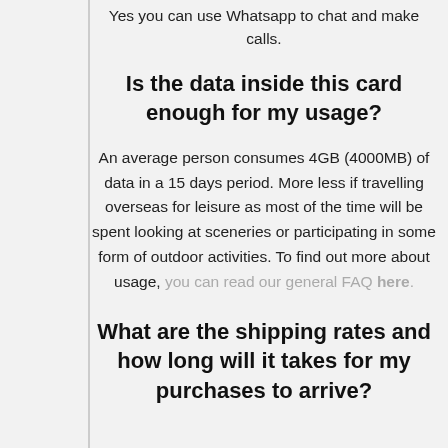Yes you can use Whatsapp to chat and make calls.
Is the data inside this card enough for my usage?
An average person consumes 4GB (4000MB) of data in a 15 days period. More less if travelling overseas for leisure as most of the time will be spent looking at sceneries or participating in some form of outdoor activities. To find out more about usage, you can read our general FAQ here.
What are the shipping rates and how long will it takes for my purchases to arrive?